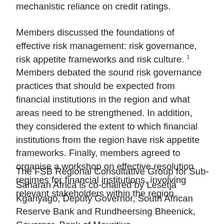mechanistic reliance on credit ratings.
Members discussed the foundations of effective risk management: risk governance, risk appetite frameworks and risk culture. 1 Members debated the sound risk governance practices that should be expected from financial institutions in the region and what areas need to be strengthened. In addition, they considered the extent to which financial institutions from the region have risk appetite frameworks. Finally, members agreed to organise a workshop on effective resolution regimes for financial institutions, involving relevant stakeholders within the region.
The FSB Regional Consultative Group for Sub-Saharan Africa is co-chaired by Lesetja Kganyago, Deputy Governor, South African Reserve Bank and Rundheersing Bheenick, Governor, Bank of Mauritius,